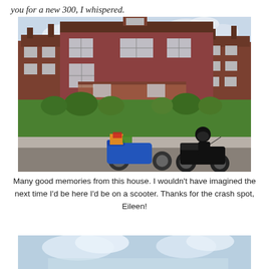you for a new 300, I whispered.
[Figure (photo): A person on a motorcycle parked in front of a large two-story red brick house with lush green lawn and bushes. A blue scooter loaded with luggage is parked beside the motorcycle.]
Many good memories from this house. I wouldn't have imagined the next time I'd be here I'd be on a scooter. Thanks for the crash spot, Eileen!
[Figure (photo): Partial view of a second photo showing sky with clouds, cropped at bottom of page.]